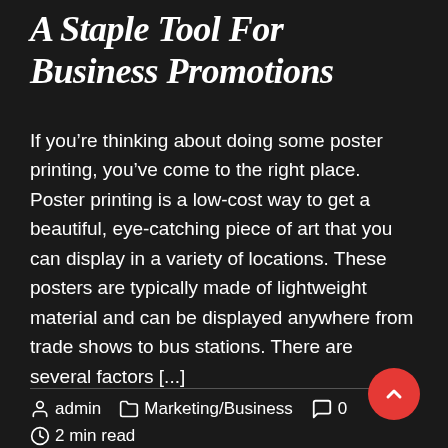A Staple Tool For Business Promotions
If you’re thinking about doing some poster printing, you’ve come to the right place. Poster printing is a low-cost way to get a beautiful, eye-catching piece of art that you can display in a variety of locations. These posters are typically made of lightweight material and can be displayed anywhere from trade shows to bus stations. There are several factors [...]
admin   Marketing/Business   0   2 min read